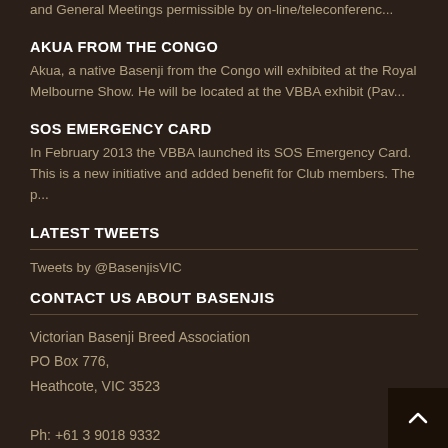and General Meetings permissible by on-line/teleconferenc...
AKUA FROM THE CONGO
Akua, a native Basenji from the Congo will exhibited at the Royal Melbourne Show. He will be located at the VBBA exhibit (Pav...
SOS EMERGENCY CARD
In February 2013 the VBBA launched its SOS Emergency Card. This is a new initiative and added benefit for Club members. The p...
LATEST TWEETS
Tweets by @BasenjisVIC
CONTACT US ABOUT BASENJIS
Victorian Basenji Breed Association
PO Box 776,
Heathcote, VIC 3523

Ph: +61 3 9018 9332
Fx: +61 3 5433 3636